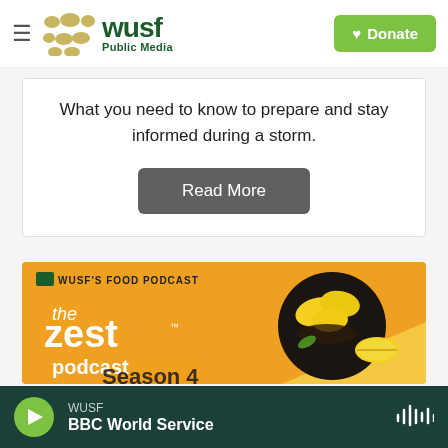WUSF Public Media — Donate
What you need to know to prepare and stay informed during a storm.
Read More
[Figure (illustration): The Zest Podcast Season 4 promotional image: orange background with white text 'the zest podcast', a circular photo of lemons in a bowl, WUSF's Food Podcast branding.]
WUSF — BBC World Service (player bar with play button and waveform icon)